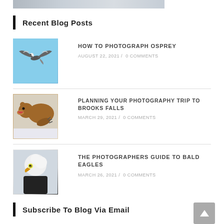[Figure (photo): Partial top image strip, appears to be a nature/wildlife photo cropped at top]
Recent Blog Posts
[Figure (photo): Osprey bird in flight against blue sky]
HOW TO PHOTOGRAPH OSPREY
AUGUST 22, 2021 / 0 COMMENTS
[Figure (photo): Brown bear catching fish]
PLANNING YOUR PHOTOGRAPHY TRIP TO BROOKS FALLS
MARCH 29, 2021 / 0 COMMENTS
[Figure (photo): Bald eagle close-up portrait]
THE PHOTOGRAPHERS GUIDE TO BALD EAGLES
MARCH 26, 2021 / 0 COMMENTS
Subscribe To Blog Via Email